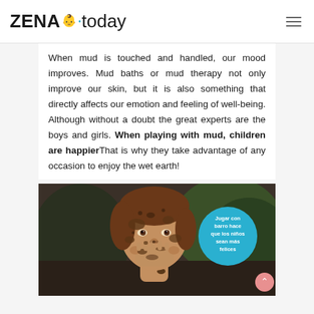ZENA today
When mud is touched and handled, our mood improves. Mud baths or mud therapy not only improve our skin, but it is also something that directly affects our emotion and feeling of well-being. Although without a doubt the great experts are the boys and girls. When playing with mud, children are happierThat is why they take advantage of any occasion to enjoy the wet earth!
[Figure (photo): A young girl with mud on her face and hands, smiling. A blue circular badge reads: Jugar con barro hace que los niños sean más felices]